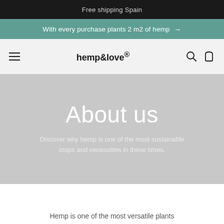Free shipping Spain
With every purchase plants 2 m2 of hemp →
hemp&love®
About us
Discover why hemp is one of the most sustainable crops and necessities in these times.
Hemp is one of the most versatile plants